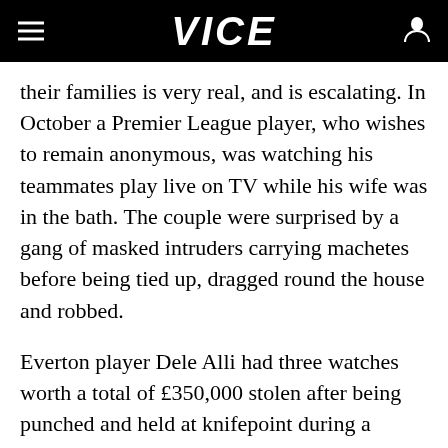VICE
their families is very real, and is escalating. In October a Premier League player, who wishes to remain anonymous, was watching his teammates play live on TV while his wife was in the bath. The couple were surprised by a gang of masked intruders carrying machetes before being tied up, dragged round the house and robbed.
Everton player Dele Alli had three watches worth a total of £350,000 stolen after being punched and held at knifepoint during a robbery in May 2020. Two months earlier, the